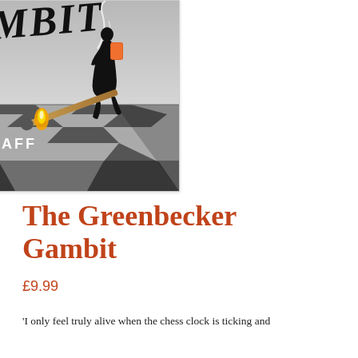[Figure (illustration): Book cover of 'The Greenbecker Gambit' by Ben Graff. Shows a chessboard floor in perspective with a silhouetted figure in black carrying an orange backpack walking away. A lit match lies on the chessboard in the foreground. The title text is partially visible at the top in handwritten style lettering.]
The Greenbecker Gambit
£9.99
'I only feel truly alive when the chess clock is ticking and